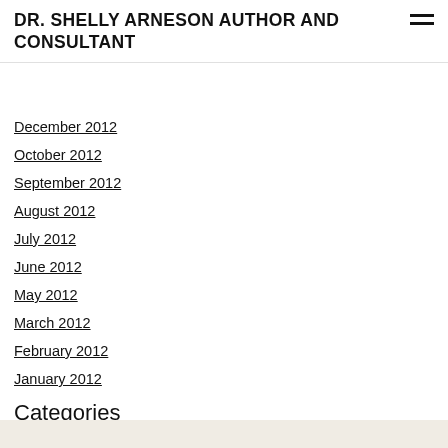DR. SHELLY ARNESON AUTHOR AND CONSULTANT
December 2012
October 2012
September 2012
August 2012
July 2012
June 2012
May 2012
March 2012
February 2012
January 2012
Categories
All
RSS Feed